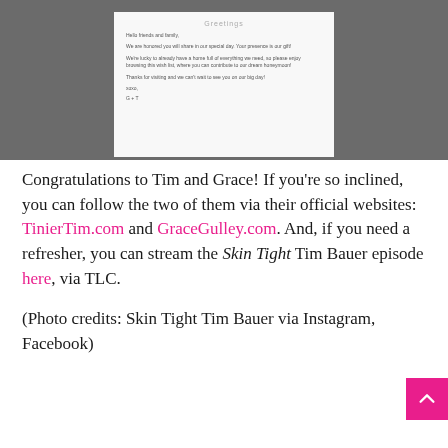[Figure (screenshot): Screenshot of a wedding greeting card webpage showing 'Greetings' title and message to friends and family about a honeymoon wish list, signed 'xoxo, G + T']
Congratulations to Tim and Grace! If you're so inclined, you can follow the two of them via their official websites: TinierTim.com and GraceGulley.com. And, if you need a refresher, you can stream the Skin Tight Tim Bauer episode here, via TLC.
(Photo credits: Skin Tight Tim Bauer via Instagram, Facebook)